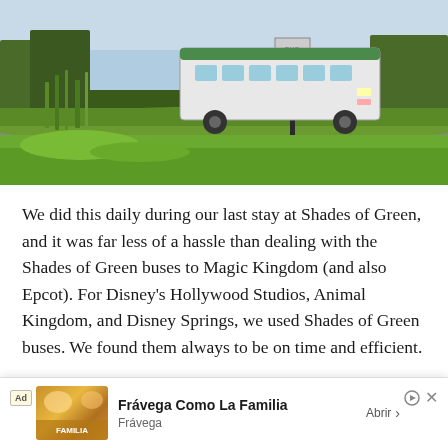[Figure (photo): A green bus at a bus stop surrounded by lush green grass and trees in what appears to be a resort area, likely Disney property.]
We did this daily during our last stay at Shades of Green, and it was far less of a hassle than dealing with the Shades of Green buses to Magic Kingdom (and also Epcot). For Disney's Hollywood Studios, Animal Kingdom, and Disney Springs, we used Shades of Green buses. We found them always to be on time and efficient.
Despite its location in the Magic Kingdom Resort Area, Shades of Green is (mostly) treated as an off-site resort. This means no Disney Magical Express, no expanded Advanced Dining Reservations, no free My Disney Experience, the
[Figure (other): Advertisement banner: Frávega Como La Familia - Frávega ad with family photo and Abrir button]